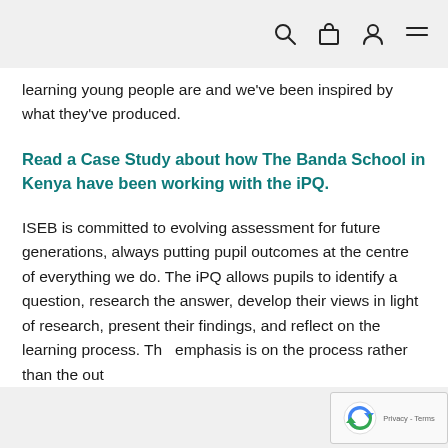[navigation icons: search, bag, account, menu]
learning young people are and we've been inspired by what they've produced.
Read a Case Study about how The Banda School in Kenya have been working with the iPQ.
ISEB is committed to evolving assessment for future generations, always putting pupil outcomes at the centre of everything we do. The iPQ allows pupils to identify a question, research the answer, develop their views in light of research, present their findings, and reflect on the learning process. The emphasis is on the process rather than the out…